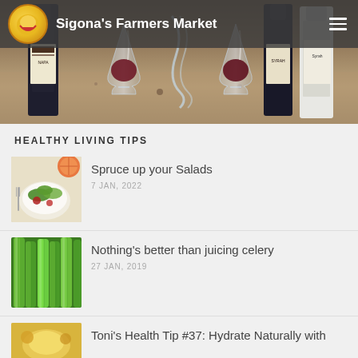Sigona's Farmers Market
[Figure (photo): Wine bottles and glasses on a granite countertop]
HEALTHY LIVING TIPS
[Figure (photo): Salad with blood orange and greens]
Spruce up your Salads
7 JAN, 2022
[Figure (photo): Fresh celery stalks]
Nothing's better than juicing celery
27 JAN, 2019
[Figure (photo): Thumbnail for Toni's Health Tip article]
Toni's Health Tip #37: Hydrate Naturally with